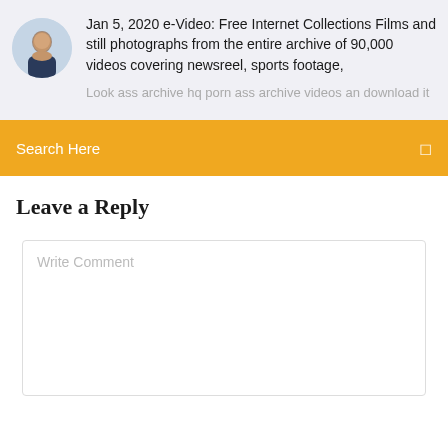[Figure (photo): Circular avatar photo of a young man with short hair, wearing a dark collared shirt, with a light background.]
Jan 5, 2020 e-Video: Free Internet Collections Films and still photographs from the entire archive of 90,000 videos covering newsreel, sports footage,
Look ass archive hq porn ass archive videos an download it
Search Here
Leave a Reply
Write Comment